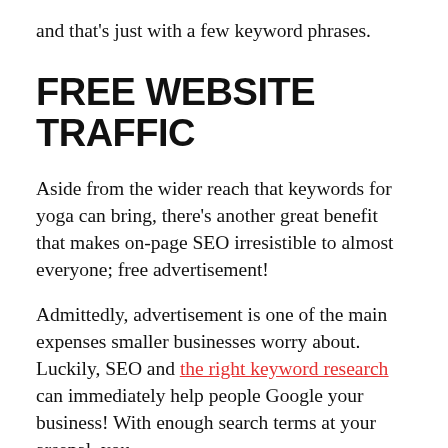and that's just with a few keyword phrases.
FREE WEBSITE TRAFFIC
Aside from the wider reach that keywords for yoga can bring, there's another great benefit that makes on-page SEO irresistible to almost everyone; free advertisement!
Admittedly, advertisement is one of the main expenses smaller businesses worry about. Luckily, SEO and the right keyword research can immediately help people Google your business! With enough search terms at your arsenal, you